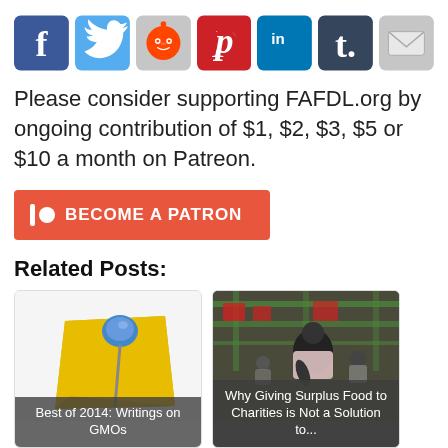[Figure (illustration): Social media sharing icons row: Facebook, Twitter, Reddit, Pinterest, LinkedIn, Tumblr, Email]
Please consider supporting FAFDL.org by ongoing contribution of $1, $2, $3, $5 or $10 a month on Patreon.
[Figure (illustration): Patreon 'Become a Patron' button in coral/red color with Patreon logo icon]
Related Posts:
[Figure (illustration): Post card image: sticky note with blue thumbtack. Caption: Best of 2014: Writings on GMOs]
[Figure (photo): Post card photo: people in a food distribution setting. Caption: Why Giving Surplus Food to Charities is Not a Solution to...]